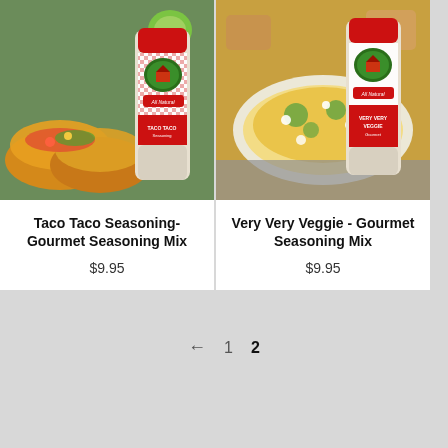[Figure (photo): Product photo of Taco Taco Seasoning bottle from Strawberry Tree Farms, shown with tacos in background]
Taco Taco Seasoning- Gourmet Seasoning Mix
$9.95
[Figure (photo): Product photo of Very Very Veggie Gourmet Seasoning Mix bottle from Strawberry Tree Farms, shown with cheesy dish in background]
Very Very Veggie - Gourmet Seasoning Mix
$9.95
← 1 2